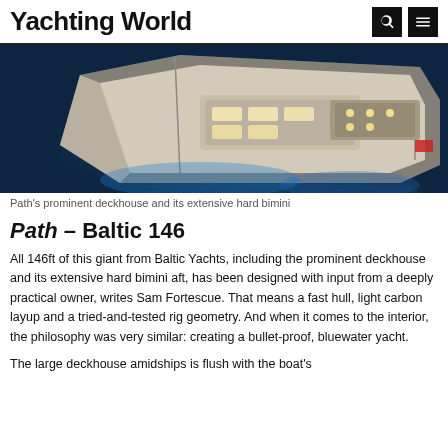Yachting World
[Figure (photo): Aerial/overhead night photo of the Baltic 146 yacht 'Path', showing the prominent deckhouse and extensive hard bimini aft, illuminated with underwater and deck lights against dark water.]
Path's prominent deckhouse and its extensive hard bimini
Path – Baltic 146
All 146ft of this giant from Baltic Yachts, including the prominent deckhouse and its extensive hard bimini aft, has been designed with input from a deeply practical owner, writes Sam Fortescue. That means a fast hull, light carbon layup and a tried-and-tested rig geometry. And when it comes to the interior, the philosophy was very similar: creating a bullet-proof, bluewater yacht.
The large deckhouse amidships is flush with the boat's